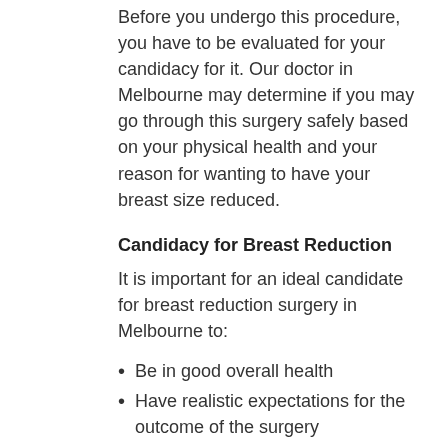Before you undergo this procedure, you have to be evaluated for your candidacy for it. Our doctor in Melbourne may determine if you may go through this surgery safely based on your physical health and your reason for wanting to have your breast size reduced.
Candidacy for Breast Reduction
It is important for an ideal candidate for breast reduction surgery in Melbourne to:
Be in good overall health
Have realistic expectations for the outcome of the surgery
Not smoke or abuse drugs
Not be pregnant or nursing